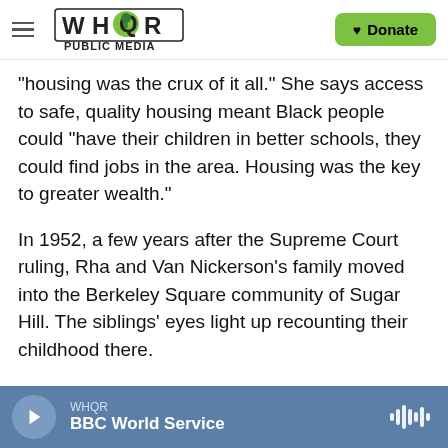WHQR PUBLIC MEDIA | Donate
"housing was the crux of it all." She says access to safe, quality housing meant Black people could "have their children in better schools, they could find jobs in the area. Housing was the key to greater wealth."
In 1952, a few years after the Supreme Court ruling, Rha and Van Nickerson's family moved into the Berkeley Square community of Sugar Hill. The siblings' eyes light up recounting their childhood there.
"We got our wagon and we'd go up and down the
WHQR | BBC World Service